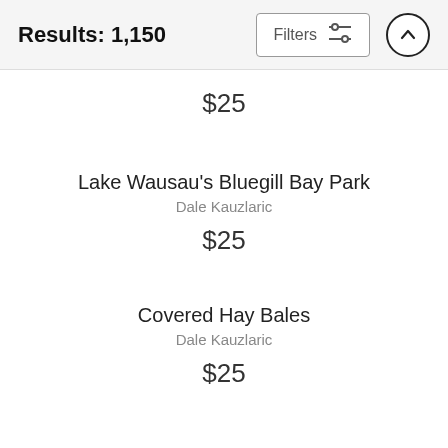Results: 1,150
$25
Lake Wausau's Bluegill Bay Park
Dale Kauzlaric
$25
Covered Hay Bales
Dale Kauzlaric
$25